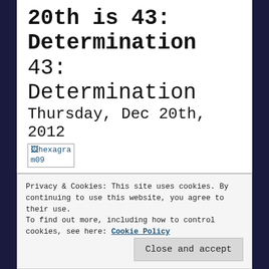20th is 43: Determination
43: Determination
Thursday, Dec 20th, 2012
[Figure (other): Broken image placeholder labeled 'hexagram09']
Privacy & Cookies: This site uses cookies. By continuing to use this website, you agree to their use.
To find out more, including how to control cookies, see here: Cookie Policy
Close and accept